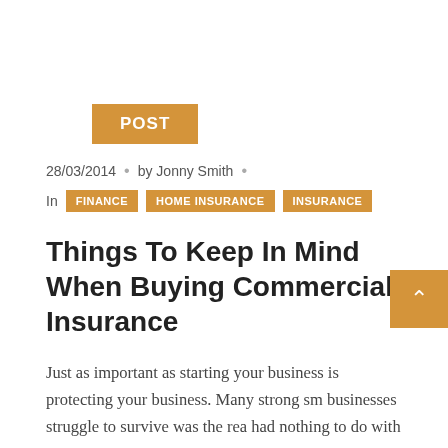POST
28/03/2014  •  by Jonny Smith  •
In  FINANCE  HOME INSURANCE  INSURANCE
Things To Keep In Mind When Buying Commercial Insurance
Just as important as starting your business is protecting your business. Many strong sm businesses struggle to survive was the reason had nothing to do with the product or service offered. Not being protected by a commercial insurance policy unique to your enterprise is a